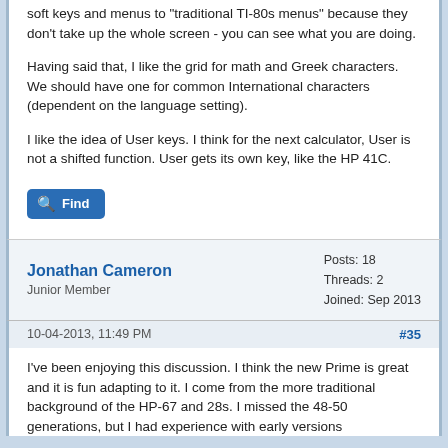soft keys and menus to "traditional TI-80s menus" because they don't take up the whole screen - you can see what you are doing.

Having said that, I like the grid for math and Greek characters. We should have one for common International characters (dependent on the language setting).

I like the idea of User keys. I think for the next calculator, User is not a shifted function. User gets its own key, like the HP 41C.
Find
Jonathan Cameron
Junior Member
Posts: 18
Threads: 2
Joined: Sep 2013
10-04-2013, 11:49 PM
#35
I've been enjoying this discussion. I think the new Prime is great and it is fun adapting to it. I come from the more traditional background of the HP-67 and 28s. I missed the 48-50 generations, but I had experience with early versions